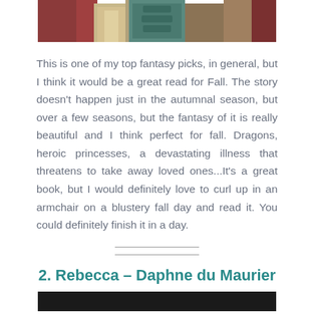[Figure (illustration): Top portion of a fantasy book cover illustration showing figures in medieval/fantasy clothing with rich colors of red, cream, teal/green, and brown]
This is one of my top fantasy picks, in general, but I think it would be a great read for Fall. The story doesn't happen just in the autumnal season, but over a few seasons, but the fantasy of it is really beautiful and I think perfect for fall. Dragons, heroic princesses, a devastating illness that threatens to take away loved ones...It's a great book, but I would definitely love to curl up in an armchair on a blustery fall day and read it. You could definitely finish it in a day.
2. Rebecca – Daphne du Maurier
[Figure (photo): Bottom edge of a dark/black book cover image]